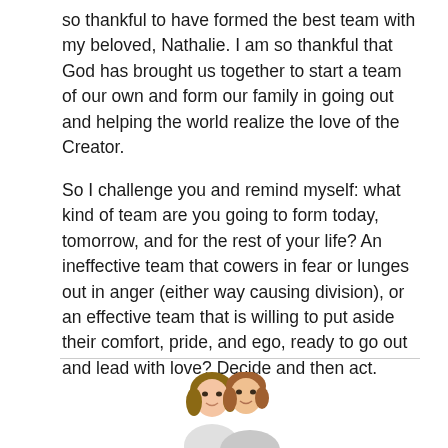so thankful to have formed the best team with my beloved, Nathalie. I am so thankful that God has brought us together to start a team of our own and form our family in going out and helping the world realize the love of the Creator.
So I challenge you and remind myself: what kind of team are you going to form today, tomorrow, and for the rest of your life? An ineffective team that cowers in fear or lunges out in anger (either way causing division), or an effective team that is willing to put aside their comfort, pride, and ego, ready to go out and lead with love? Decide and then act.
[Figure (photo): Photo of a couple (man and woman) smiling together, cropped at the bottom of the page]